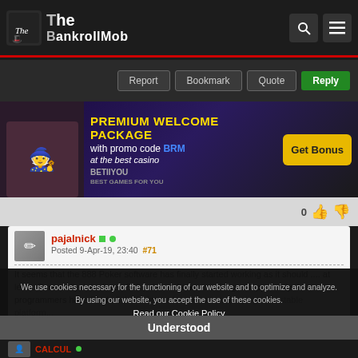The BankrollMob
[Figure (screenshot): Action bar with Report, Bookmark, Quote and Reply buttons]
[Figure (infographic): BetYou Premium Welcome Package ad banner with promo code BRM and Get Bonus button]
pajalnick (online) Posted 9-Apr-19, 23:40 #71
It seems that the 888 Poker software has finally started working as it should .... at least. Personally, I don't see 888 poker software crashing .... apparently the programmers have filled all the holes and...
We use cookies necessary for the functioning of our website and to optimize and analyze. By using our website, you accept the use of these cookies.
Read our Cookie Policy
Understood
[Figure (screenshot): Second user avatar area with CALCUL username]